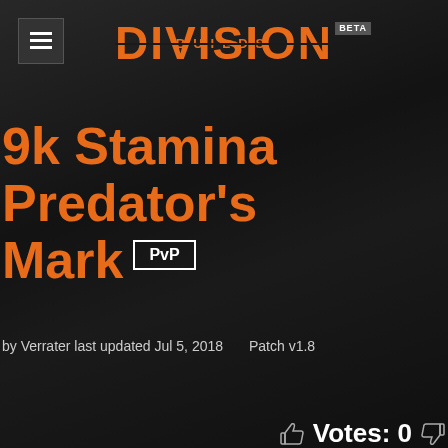DIVISION BUILDS BETA
9k Stamina Predator's Mark PvP
by Verrater last updated Jul 5, 2018   Patch v1.8
Votes: 0